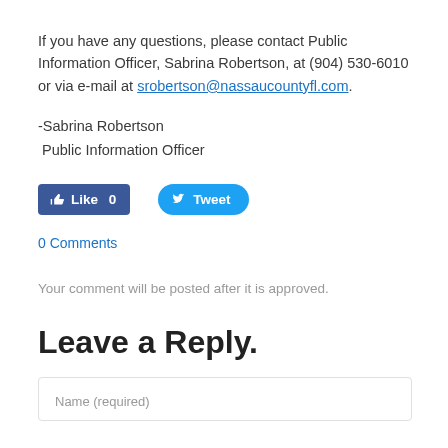If you have any questions, please contact Public Information Officer, Sabrina Robertson, at (904) 530-6010 or via e-mail at srobertson@nassaucountyfl.com.
-Sabrina Robertson
 Public Information Officer
[Figure (other): Facebook Like button showing count 0 and Twitter Tweet button]
0 Comments
Your comment will be posted after it is approved.
Leave a Reply.
Name (required)